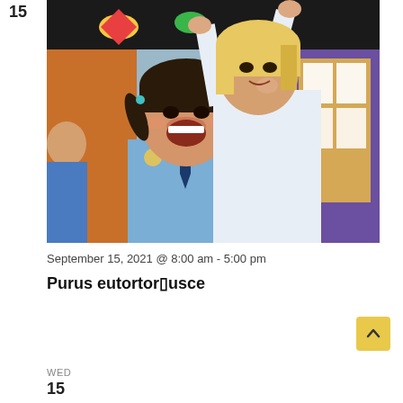15
[Figure (photo): Two young girls in school uniforms celebrating in a colorful classroom. The girl in front has pigtails and is laughing with her mouth open, wearing a blue uniform with a navy tie. The girl behind has blonde hair and her arms raised up, wearing a white shirt.]
September 15, 2021 @ 8:00 am - 5:00 pm
Purus eutortor▯usce
WED
15